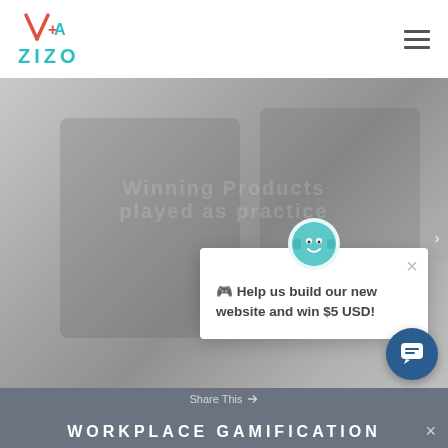[Figure (logo): ZIZO company logo with stylized V+A icon in red/orange above the teal ZIZO wordmark]
[Figure (photo): Grayscale hero image of a person at a computer workstation, with faint overlaid text]
[Figure (illustration): Popup card with a teal game controller mascot icon, close X button, and text: Help us build our new website and win $5 USD!]
🎮 Help us build our new website and win $5 USD!
[Figure (screenshot): Dark blue chat widget button in bottom right corner]
WORKPLACE GAMIFICATION
Share This